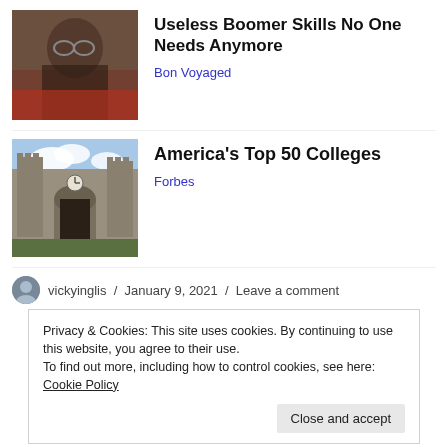[Figure (photo): Older man with glasses and beard, wearing a dark jacket, looking down at a surface, with a red background visible.]
Useless Boomer Skills No One Needs Anymore
Bon Voyaged
[Figure (photo): Gothic stone college building with towers, archway entrance, and clock, under a partly cloudy blue sky.]
America's Top 50 Colleges
Forbes
vickyinglis / January 9, 2021 / Leave a comment
Privacy & Cookies: This site uses cookies. By continuing to use this website, you agree to their use.
To find out more, including how to control cookies, see here: Cookie Policy